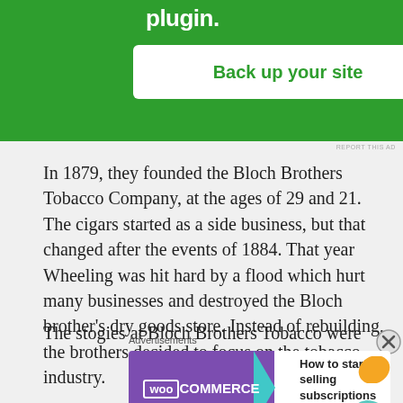[Figure (screenshot): Green advertisement banner with 'plugin.' text and a 'Back up your site' button]
REPORT THIS AD
In 1879, they founded the Bloch Brothers Tobacco Company, at the ages of 29 and 21. The cigars started as a side business, but that changed after the events of 1884. That year Wheeling was hit hard by a flood which hurt many businesses and destroyed the Bloch brother’s dry goods store. Instead of rebuilding, the brothers decided to focus on the tobacco industry.
The stogies at Bloch Brothers Tobacco were
Advertisements
[Figure (screenshot): WooCommerce advertisement: 'How to start selling subscriptions online']